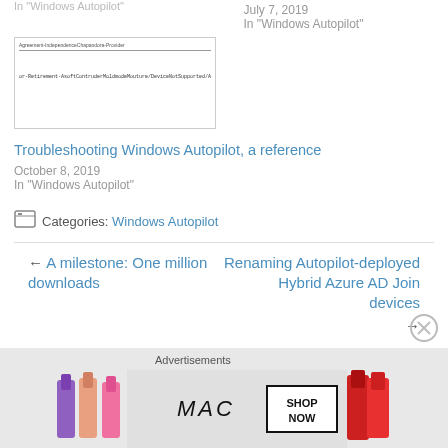In "Windows Autopilot"
July 7, 2019
In "Windows Autopilot"
[Figure (screenshot): Thumbnail screenshot of a table/spreadsheet with small text]
Troubleshooting Windows Autopilot, a reference
October 8, 2019
In "Windows Autopilot"
Categories: Windows Autopilot
← A milestone: One million downloads
Renaming Autopilot-deployed Hybrid Azure AD Join devices →
Advertisements
[Figure (photo): MAC cosmetics advertisement banner with lipsticks and SHOP NOW button]